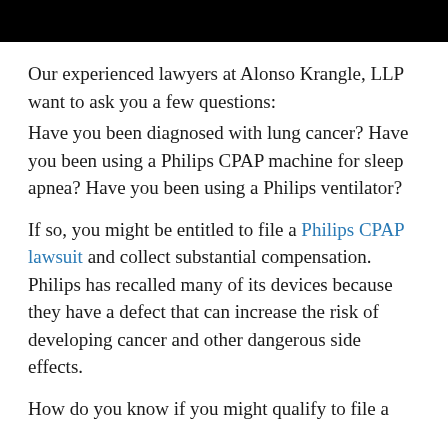[Figure (other): Black header bar at top of page]
Our experienced lawyers at Alonso Krangle, LLP want to ask you a few questions:
Have you been diagnosed with lung cancer? Have you been using a Philips CPAP machine for sleep apnea? Have you been using a Philips ventilator?
If so, you might be entitled to file a Philips CPAP lawsuit and collect substantial compensation. Philips has recalled many of its devices because they have a defect that can increase the risk of developing cancer and other dangerous side effects.
How do you know if you might qualify to file a